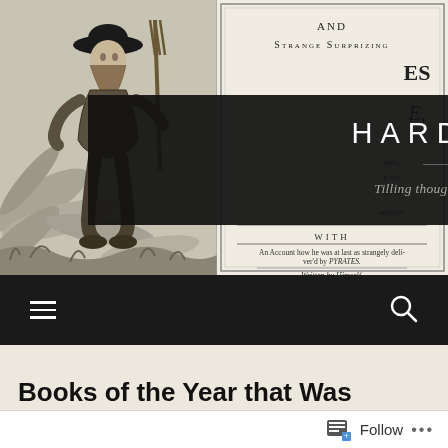[Figure (screenshot): Website header banner for 'Hardscrabble' blog. Left side shows a black-and-white engraving of a figure with a pitchfork in tropical vegetation. Right side shows an old book title page with text 'AND STRANGE SURPRIZING ... ES ... E, ... ears, in the ith of ... where- ... WITH An Account how he was at last as strangely deliv'd by PYRATES. Written by Himself.' A dark semi-transparent overlay banner shows the site title 'HARDSCRABBLE' in large white spaced letters, a horizontal divider, and italic tagline 'Tilling thoughts from the scorched soil of the mind'.]
HARDSCRABBLE — Tilling thoughts from the scorched soil of the mind
Books of the Year that Was